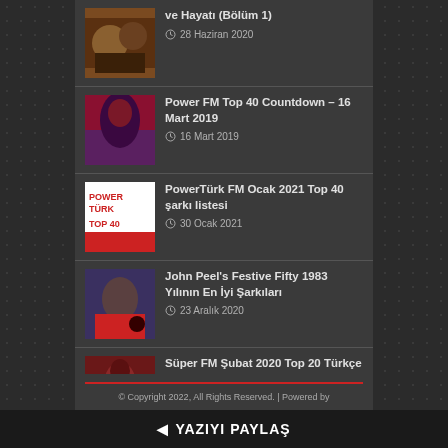ve Hayatı (Bölüm 1) — 28 Haziran 2020
Power FM Top 40 Countdown – 16 Mart 2019 — 16 Mart 2019
PowerTürk FM Ocak 2021 Top 40 şarkı listesi — 30 Ocak 2021
John Peel's Festive Fifty 1983 Yılının En İyi Şarkıları — 23 Aralık 2020
Süper FM Şubat 2020 Top 20 Türkçe Pop şarkı listesi — 2 Şubat 2020
© Copyright 2022, All Rights Reserved. | Powered by
YAZIYI PAYLAŞ